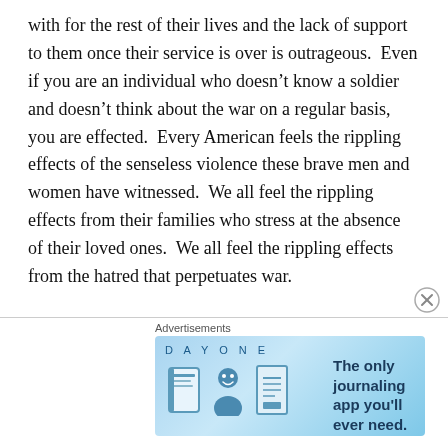with for the rest of their lives and the lack of support to them once their service is over is outrageous.  Even if you are an individual who doesn't know a soldier and doesn't think about the war on a regular basis, you are effected.  Every American feels the rippling effects of the senseless violence these brave men and women have witnessed.  We all feel the rippling effects from their families who stress at the absence of their loved ones.  We all feel the rippling effects from the hatred that perpetuates war.

In honor of Memorial Day please consider what you can do to help a soldier or help a soldier's family.  And to honor those who have been lost in combat or from suicide – stand to put an end to the war and bring our brave men
[Figure (other): Day One journaling app advertisement banner with icons and tagline 'The only journaling app you'll ever need.']